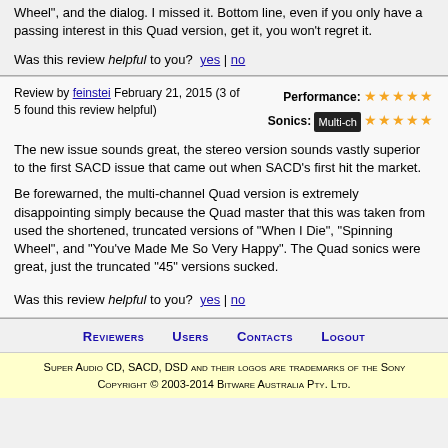Wheel", and the dialog. I missed it. Bottom line, even if you only have a passing interest in this Quad version, get it, you won't regret it.
Was this review helpful to you? yes | no
Review by feinstei February 21, 2015 (3 of 5 found this review helpful)
Performance: ★★★★★ Sonics: Multi-ch ★★★★★
The new issue sounds great, the stereo version sounds vastly superior to the first SACD issue that came out when SACD's first hit the market.
Be forewarned, the multi-channel Quad version is extremely disappointing simply because the Quad master that this was taken from used the shortened, truncated versions of "When I Die", "Spinning Wheel", and "You've Made Me So Very Happy". The Quad sonics were great, just the truncated "45" versions sucked.
Was this review helpful to you? yes | no
Reviewers  Users  Contacts  Logout
Super Audio CD, SACD, DSD and their logos are trademarks of the Sony  Copyright © 2003-2014 Bitware Australia Pty. Ltd.